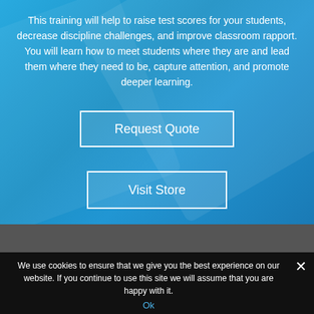This training will help to raise test scores for your students, decrease discipline challenges, and improve classroom rapport. You will learn how to meet students where they are and lead them where they need to be, capture attention, and promote deeper learning.
Request Quote
Visit Store
We use cookies to ensure that we give you the best experience on our website. If you continue to use this site we will assume that you are happy with it.
Ok